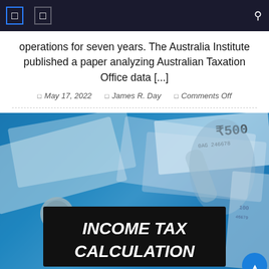Navigation bar with menu icons and search
operations for seven years. The Australia Institute published a paper analyzing Australian Taxation Office data [...]
May 17, 2022  James R. Day  Comments Off
[Figure (photo): Photo of Indian currency notes and coins with a black banner overlay reading INCOME TAX CALCULATION in bold white text, blue-tinted background]
INCOME TAX CALCULATION